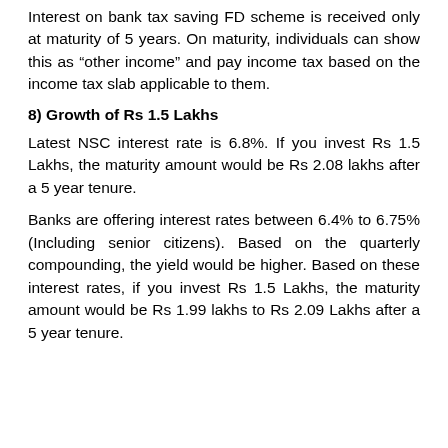Interest on bank tax saving FD scheme is received only at maturity of 5 years. On maturity, individuals can show this as “other income” and pay income tax based on the income tax slab applicable to them.
8) Growth of Rs 1.5 Lakhs
Latest NSC interest rate is 6.8%. If you invest Rs 1.5 Lakhs, the maturity amount would be Rs 2.08 lakhs after a 5 year tenure.
Banks are offering interest rates between 6.4% to 6.75% (Including senior citizens). Based on the quarterly compounding, the yield would be higher. Based on these interest rates, if you invest Rs 1.5 Lakhs, the maturity amount would be Rs 1.99 lakhs to Rs 2.09 Lakhs after a 5 year tenure.